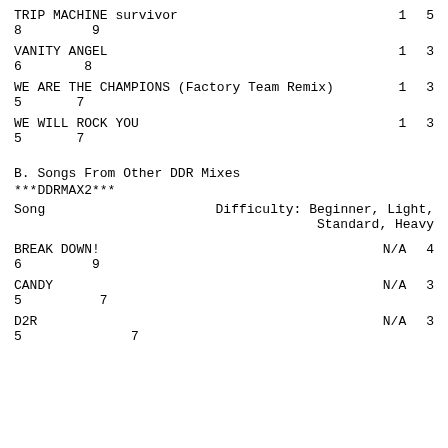TRIP MACHINE survivor   1   5
8   9
VANITY ANGEL   1   3
6   8
WE ARE THE CHAMPIONS (Factory Team Remix)   1   3
5   7
WE WILL ROCK YOU   1   3
5   7
B. Songs From Other DDR Mixes
***DDRMAX2***
Song                    Difficulty: Beginner, Light, Standard, Heavy
BREAK DOWN!   N/A   4
6   9
CANDY   N/A   3
5   7
D2R   N/A   3
5   7